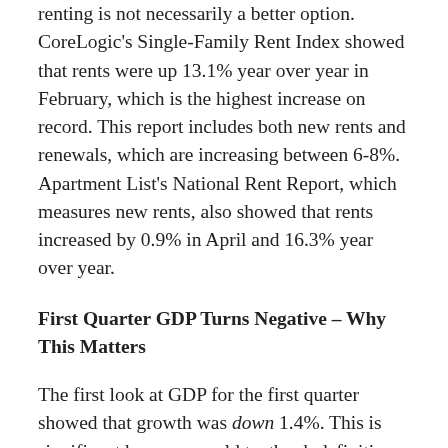renting is not necessarily a better option. CoreLogic's Single-Family Rent Index showed that rents were up 13.1% year over year in February, which is the highest increase on record. This report includes both new rents and renewals, which are increasing between 6-8%. Apartment List's National Rent Report, which measures new rents, also showed that rents increased by 0.9% in April and 16.3% year over year.
First Quarter GDP Turns Negative – Why This Matters
The first look at GDP for the first quarter showed that growth was down 1.4%. This is significant because an old textbook definition of a recession is two consecutive quarters of negative GDP. Note that we will get two more revisions to this figure